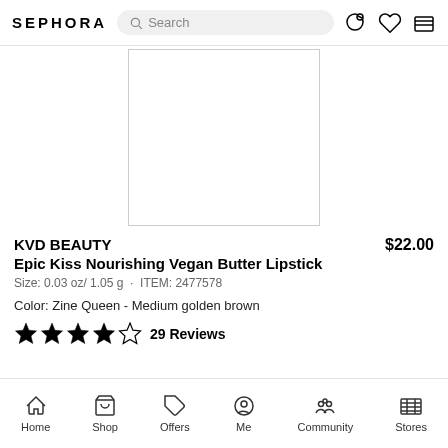SEPHORA
[Figure (screenshot): Product image area showing a white/blank product photo of a lipstick]
KVD BEAUTY   $22.00
Epic Kiss Nourishing Vegan Butter Lipstick
Size: 0.03 oz/ 1.05 g · ITEM: 2477578
Color: Zine Queen - Medium golden brown
★★★★☆ 29 Reviews
Home  Shop  Offers  Me  Community  Stores